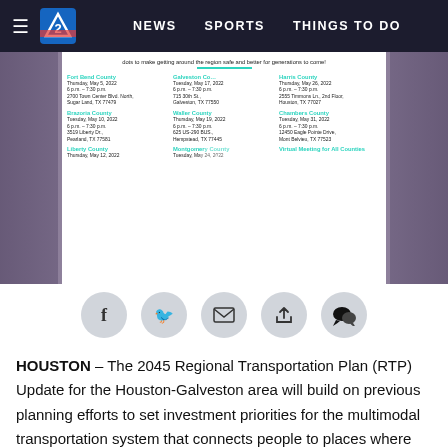NEWS   SPORTS   THINGS TO DO
[Figure (screenshot): Video screenshot showing 2045 RTP public meeting schedule across Houston-area counties including Fort Bend, Galveston, Harris, Brazoria, Waller, Chambers, Liberty, Montgomery counties with dates, times and locations in May 2022]
[Figure (infographic): Social media sharing icons: Facebook, Twitter, Email, Share, Comments]
HOUSTON – The 2045 Regional Transportation Plan (RTP) Update for the Houston-Galveston area will build on previous planning efforts to set investment priorities for the multimodal transportation system that connects people to places where they live, work, play, and efficiently moves goods from, to, and through the region. For the first time ever, the tracking of cross-regional performance their